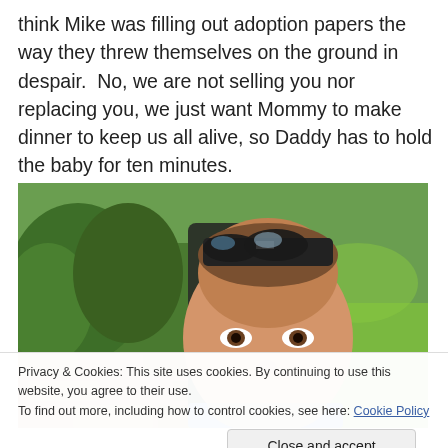think Mike was filling out adoption papers the way they threw themselves on the ground in despair.  No, we are not selling you nor replacing you, we just want Mommy to make dinner to keep us all alive, so Daddy has to hold the baby for ten minutes.
[Figure (photo): Close-up photo of a man with sunglasses on his head, outdoors with green lawn and garden shrubs in the background.]
Privacy & Cookies: This site uses cookies. By continuing to use this website, you agree to their use.
To find out more, including how to control cookies, see here: Cookie Policy
Close and accept